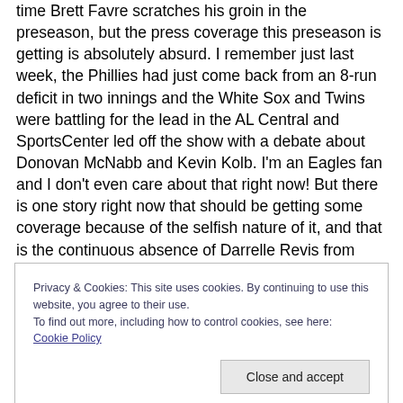time Brett Favre scratches his groin in the preseason, but the press coverage this preseason is getting is absolutely absurd. I remember just last week, the Phillies had just come back from an 8-run deficit in two innings and the White Sox and Twins were battling for the lead in the AL Central and SportsCenter led off the show with a debate about Donovan McNabb and Kevin Kolb. I'm an Eagles fan and I don't even care about that right now! But there is one story right now that should be getting some coverage because of the selfish nature of it, and that is the continuous absence of Darrelle Revis from Jets Camp.
Privacy & Cookies: This site uses cookies. By continuing to use this website, you agree to their use.
To find out more, including how to control cookies, see here: Cookie Policy